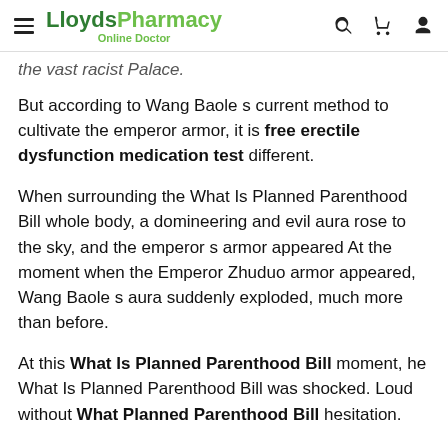LloydsPharmacy Online Doctor
the vast racist Palace.
But according to Wang Baole s current method to cultivate the emperor armor, it is free erectile dysfunction medication test different.
When surrounding the What Is Planned Parenthood Bill whole body, a domineering and evil aura rose to the sky, and the emperor s armor appeared At the moment when the Emperor Zhuduo armor appeared, Wang Baole s aura suddenly exploded, much more than before.
At this What Is Planned Parenthood Bill moment, he What Is Planned Parenthood Bill was shocked. Loud without What Planned Parenthood Bill hesitation.